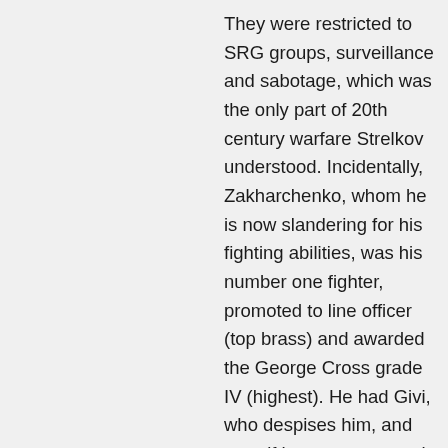They were restricted to SRG groups, surveillance and sabotage, which was the only part of 20th century warfare Strelkov understood. Incidentally, Zakharchenko, whom he is now slandering for his fighting abilities, was his number one fighter, promoted to line officer (top brass) and awarded the George Cross grade IV (highest). He had Givi, who despises him, and says if he wants to attack Zakharchenko “he has to go through me.” He had Motorola, who’s with Givi. And he had Kononov, a graduate of the Air Force Military Academy and career military, who is reputed to be a brilliant strategist. Probably some of equivalent brilliance I